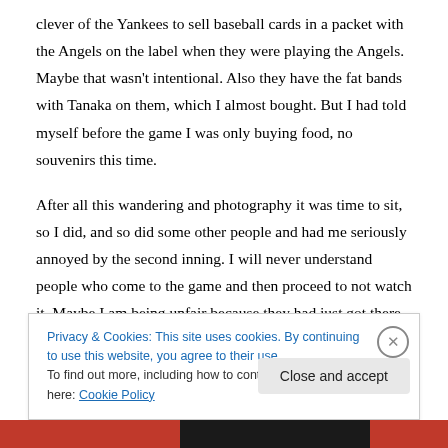clever of the Yankees to sell baseball cards in a packet with the Angels on the label when they were playing the Angels. Maybe that wasn't intentional. Also they have the fat bands with Tanaka on them, which I almost bought. But I had told myself before the game I was only buying food, no souvenirs this time.
After all this wandering and photography it was time to sit, so I did, and so did some other people and had me seriously annoyed by the second inning. I will never understand people who come to the game and then proceed to not watch it. Maybe I am being unfair because they had just got there and obviously needed time to catch up with each other, maybe
Privacy & Cookies: This site uses cookies. By continuing to use this website, you agree to their use.
To find out more, including how to control cookies, see here: Cookie Policy
Close and accept